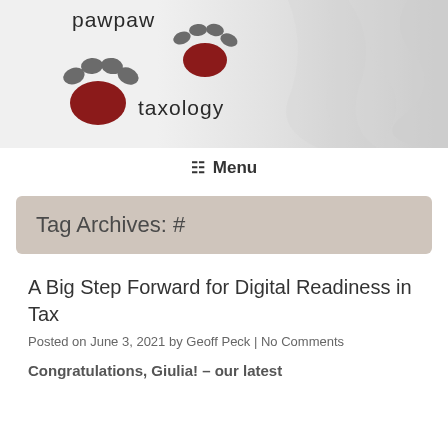[Figure (logo): Pawpaw Taxology logo with two paw prints (dark red/brown and grey) and text 'pawpaw taxology' on a light grey smoky background]
☰ Menu
Tag Archives: #
A Big Step Forward for Digital Readiness in Tax
Posted on June 3, 2021 by Geoff Peck | No Comments
Congratulations, Giulia! – our latest